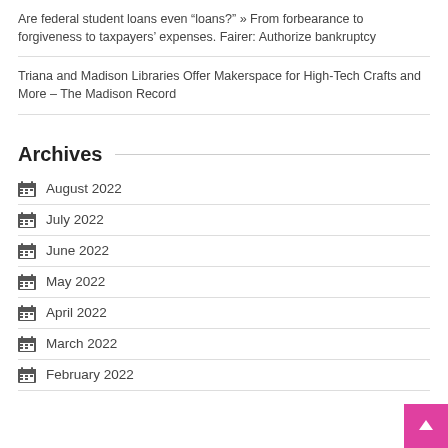Are federal student loans even “loans?” » From forbearance to forgiveness to taxpayers’ expenses. Fairer: Authorize bankruptcy
Triana and Madison Libraries Offer Makerspace for High-Tech Crafts and More – The Madison Record
Archives
August 2022
July 2022
June 2022
May 2022
April 2022
March 2022
February 2022